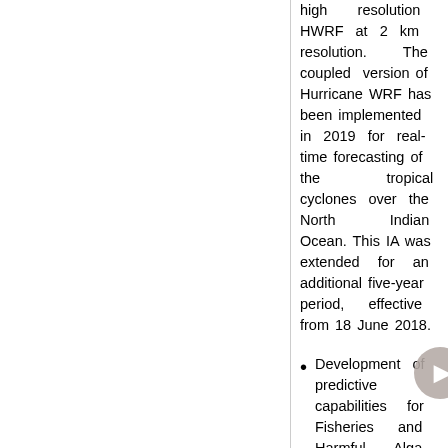high resolution HWRF at 2 km resolution. The coupled version of Hurricane WRF has been implemented in 2019 for real-time forecasting of the tropical cyclones over the North Indian Ocean. This IA was extended for an additional five-year period, effective from 18 June 2018.
Development of predictive capabilities for Fisheries and Harmful Alga...